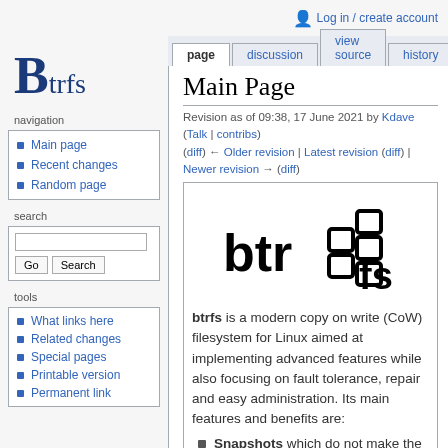Log in / create account
page | discussion | view source | history
Btrfs
navigation
Main page
Recent changes
Random page
search
tools
What links here
Related changes
Special pages
Printable version
Permanent link
Main Page
Revision as of 09:38, 17 June 2021 by Kdave (Talk | contribs)
(diff) ← Older revision | Latest revision (diff) | Newer revision → (diff)
[Figure (logo): Btrfs logo: stylized text 'btrfs' with block letter shapes forming the word]
btrfs is a modern copy on write (CoW) filesystem for Linux aimed at implementing advanced features while also focusing on fault tolerance, repair and easy administration. Its main features and benefits are:
Snapshots which do not make the full copy of files
RAID - support for software-based RAID 0, RAID 1, RAID 10